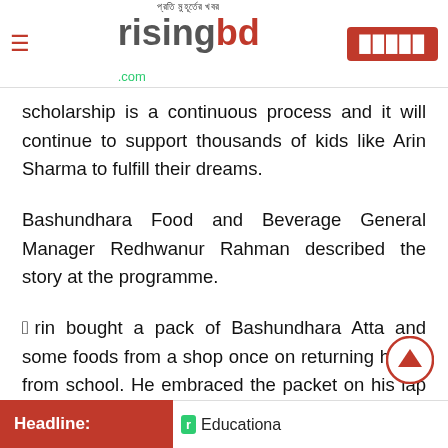প্রতি মুহূর্তের খবর risingbd.com
scholarship is a continuous process and it will continue to support thousands of kids like Arin Sharma to fulfill their dreams.
Bashundhara Food and Beverage General Manager Redhwanur Rahman described the story at the programme.
“Arin bought a pack of Bashundhara Atta and some foods from a shop once on returning home from school. He embraced the packet on his lap with immense love. A sales representative of Bashundhara Food took a photo in own curiosity and sent it to head of sales. The photo was used in
Headline: r Educationa